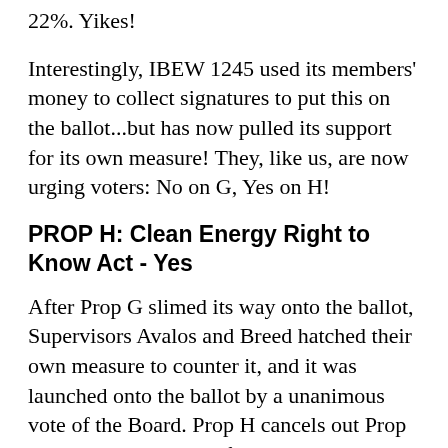22%. Yikes!
Interestingly, IBEW 1245 used its members' money to collect signatures to put this on the ballot...but has now pulled its support for its own measure! They, like us, are now urging voters: No on G, Yes on H!
PROP H: Clean Energy Right to Know Act - Yes
After Prop G slimed its way onto the ballot, Supervisors Avalos and Breed hatched their own measure to counter it, and it was launched onto the ballot by a unanimous vote of the Board. Prop H cancels out Prop G: it says that SF will follow all the state laws on how to count renewable and GHG free energy. That will allow San Franciscans choosing where to buy their power to fairly compare the energy mixes offered by PG&E & CleanPowerSF, since both will be using the same standards.